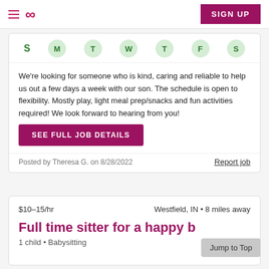Sittercity navigation header with hamburger menu, logo, and SIGN UP button
[Figure (infographic): Days of week row: S M T W T F S with circles around M T W T F S]
We're looking for someone who is kind, caring and reliable to help us out a few days a week with our son. The schedule is open to flexibility. Mostly play, light meal prep/snacks and fun activities required! We look forward to hearing from you!
SEE FULL JOB DETAILS
Posted by Theresa G. on 8/28/2022
Report job
$10–15/hr
Westfield, IN • 8 miles away
Full time sitter for a happy b
1 child • Babysitting